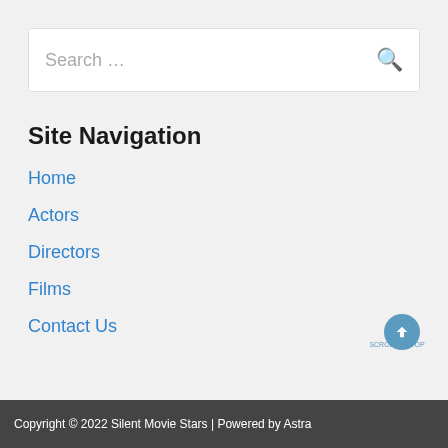Search …
Site Navigation
Home
Actors
Directors
Films
Contact Us
Copyright © 2022 Silent Movie Stars | Powered by Astra